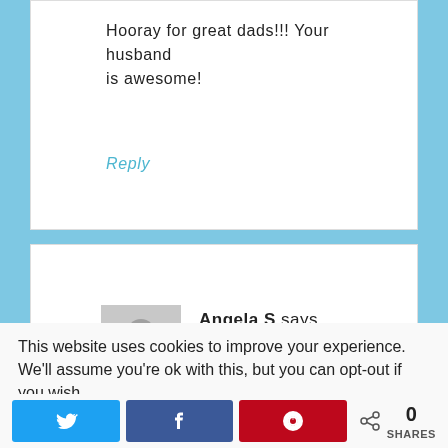Hooray for great dads!!! Your husband is awesome!
Reply
Angela S says
June 9, 2014 at 8:14 pm
This website uses cookies to improve your experience. We'll assume you're ok with this, but you can opt-out if you wish.
0 SHARES